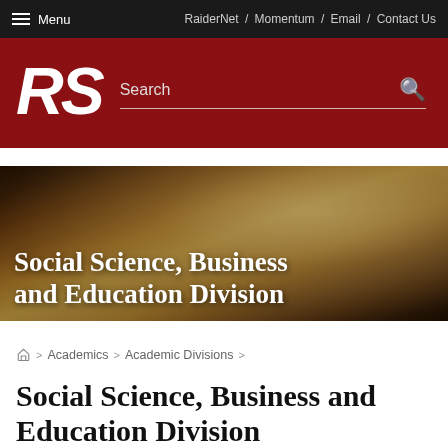Menu | RaiderNet / Momentum / Email / Contact Us
[Figure (logo): RS logo italic white text on dark red background with Search bar]
[Figure (photo): Hero banner photo of a student with overlay text: Social Science, Business and Education Division]
Home > Academics > Academic Divisions >
Social Science, Business and Education Division